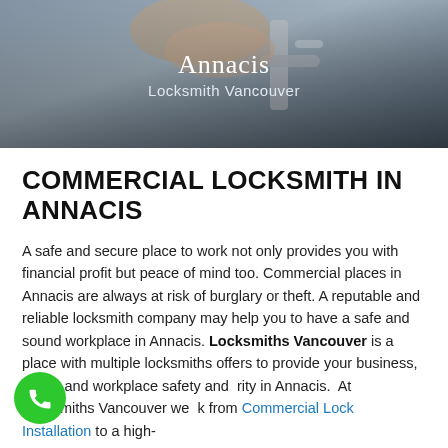[Figure (photo): Hero image of a hand operating a door lock/handle, with overlay text 'Annacis' and 'Locksmith Vancouver' in white]
COMMERCIAL LOCKSMITH IN ANNACIS
A safe and secure place to work not only provides you with financial profit but peace of mind too. Commercial places in Annacis are always at risk of burglary or theft. A reputable and reliable locksmith company may help you to have a safe and sound workplace in Annacis. Locksmiths Vancouver is a place with multiple locksmiths offers to provide your business, office, and workplace safety and rity in Annacis.  At Locksmiths Vancouver we k from Commercial Lock Installation to a high-